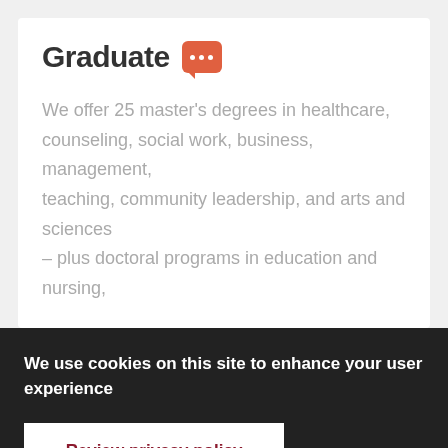Graduate
We offer 25 master's degrees in healthcare, counseling, social work, business, management, teaching, community leadership, and arts and sciences – plus doctoral programs in education and nursing,
We use cookies on this site to enhance your user experience
Review privacy policy
Dismiss